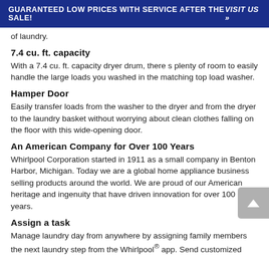GUARANTEED LOW PRICES WITH SERVICE AFTER THE SALE!   VISIT US »
of laundry.
7.4 cu. ft. capacity
With a 7.4 cu. ft. capacity dryer drum, there s plenty of room to easily handle the large loads you washed in the matching top load washer.
Hamper Door
Easily transfer loads from the washer to the dryer and from the dryer to the laundry basket without worrying about clean clothes falling on the floor with this wide-opening door.
An American Company for Over 100 Years
Whirlpool Corporation started in 1911 as a small company in Benton Harbor, Michigan. Today we are a global home appliance business selling products around the world. We are proud of our American heritage and ingenuity that have driven innovation for over 100 years.
Assign a task
Manage laundry day from anywhere by assigning family members the next laundry step from the Whirlpool® app. Send customized